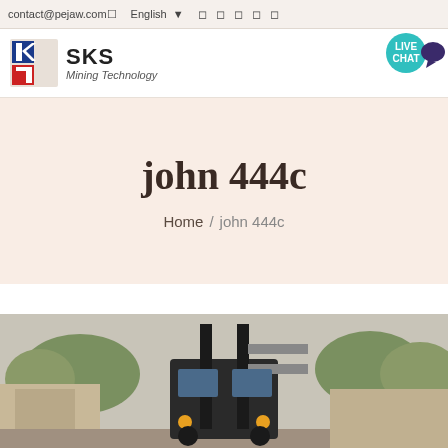contact@pejaw.com  English
[Figure (logo): SKS Mining Technology logo with stylized red and blue arrow icon]
[Figure (illustration): Live Chat bubble icon in teal with dark speech bubble]
john 444c
Home / john 444c
[Figure (photo): Outdoor photo showing a forklift or industrial vehicle in front of trees and buildings]